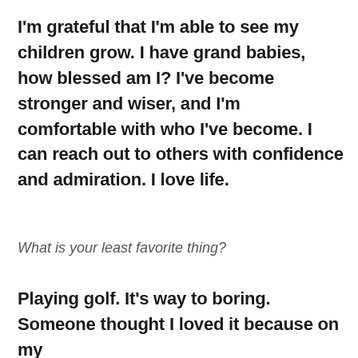I'm grateful that I'm able to see my children grow. I have grand babies, how blessed am I? I've become stronger and wiser, and I'm comfortable with who I've become. I can reach out to others with confidence and admiration. I love life.
What is your least favorite thing?
Playing golf. It's way to boring. Someone thought I loved it because on my